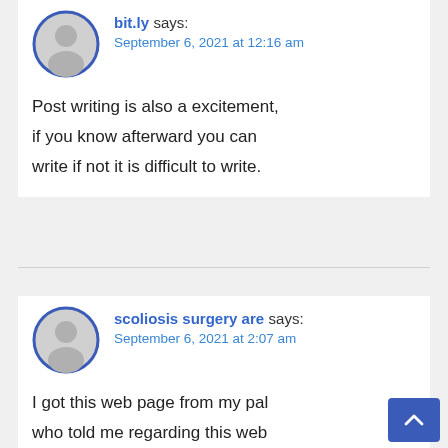bit.ly says: September 6, 2021 at 12:16 am
Post writing is also a excitement, if you know afterward you can write if not it is difficult to write.
scoliosis surgery are says: September 6, 2021 at 2:07 am
I got this web page from my pal who told me regarding this web site and now this time I am visiting this site and reading very informative